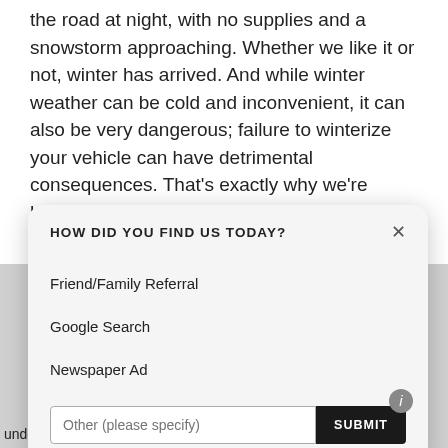the road at night, with no supplies and a snowstorm approaching. Whether we like it or not, winter has arrived. And while winter weather can be cold and inconvenient, it can also be very dangerous; failure to winterize your vehicle can have detrimental consequences. That's exactly why we're highlighting the top four ways you can prepare your vehicle for the
[Figure (screenshot): A modal dialog box overlaying the article text. Title: 'HOW DID YOU FIND US TODAY?' with a close X button. Three options listed: 'Friend/Family Referral', 'Google Search', 'Newspaper Ad'. At the bottom, a text input placeholder 'Other (please specify)' and a black 'SUBMIT' button. An info icon (i) in the bottom right corner.]
undefined